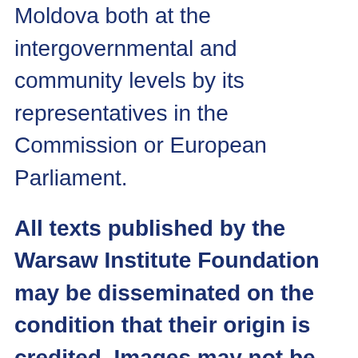Moldova both at the intergovernmental and community levels by its representatives in the Commission or European Parliament.
All texts published by the Warsaw Institute Foundation may be disseminated on the condition that their origin is credited. Images may not be used without permission.
[Figure (other): Social share buttons: Facebook (f), Twitter (bird icon with count 1), LinkedIn (in)]